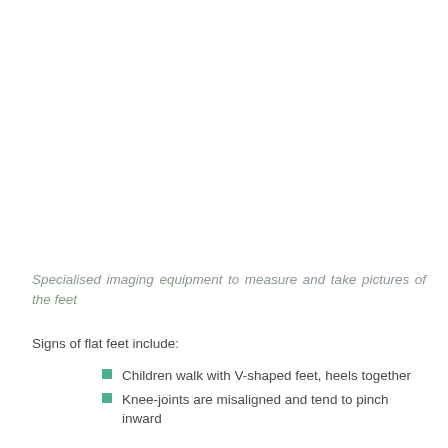Specialised imaging equipment to measure and take pictures of the feet
Signs of flat feet include:
Children walk with V-shaped feet, heels together
Knee-joints are misaligned and tend to pinch inward